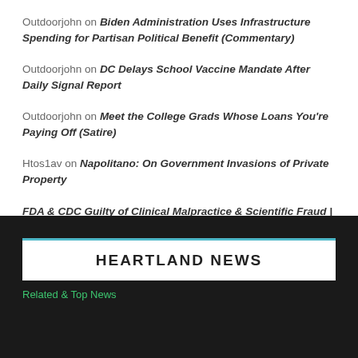Outdoorjohn on Biden Administration Uses Infrastructure Spending for Partisan Political Benefit (Commentary)
Outdoorjohn on DC Delays School Vaccine Mandate After Daily Signal Report
Outdoorjohn on Meet the College Grads Whose Loans You're Paying Off (Satire)
Htos1av on Napolitano: On Government Invasions of Private Property
FDA & CDC Guilty of Clinical Malpractice & Scientific Fraud | The Liberty Beacon on Dr. David Gortler: Manufacturers, FDA Culpable for Ignoring COVID-19 Vaccine Risks
HEARTLAND NEWS
Related Top News